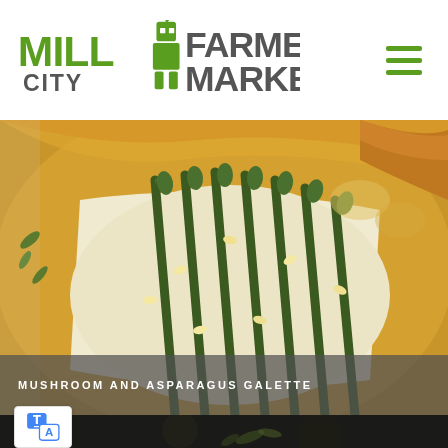Mill City Farmers Market
[Figure (photo): Close-up photo of a mushroom and asparagus galette — a rustic pastry with golden-brown crust, roasted asparagus spears arranged in a fan pattern, pine nuts, and herbs on parchment paper]
MUSHROOM AND ASPARAGUS GALETTE
[Figure (photo): Partial view of a second food photo, dark background with green herbs, partially obscured by a translation widget badge in the bottom left corner]